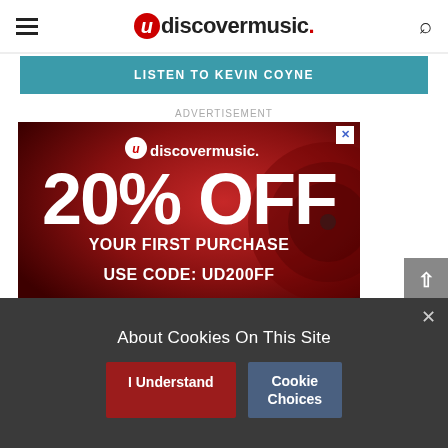udiscovermusic.
LISTEN TO KEVIN COYNE
ADVERTISEMENT
[Figure (illustration): uDiscoverMusic advertisement banner on a dark red background with vinyl record imagery. Text reads: udiscovermusic. 20% OFF YOUR FIRST PURCHASE USE CODE: UD20OFF]
About Cookies On This Site
I Understand
Cookie Choices